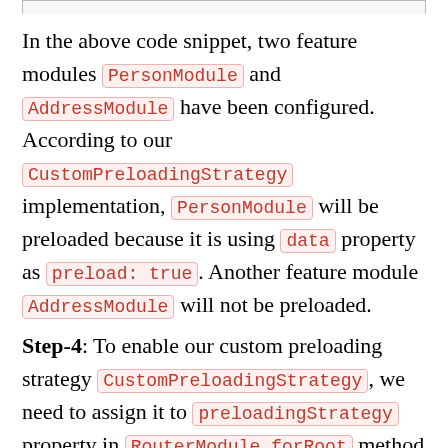In the above code snippet, two feature modules PersonModule and AddressModule have been configured. According to our CustomPreloadingStrategy implementation, PersonModule will be preloaded because it is using data property as preload: true. Another feature module AddressModule will not be preloaded.
Step-4: To enable our custom preloading strategy CustomPreloadingStrategy, we need to assign it to preloadingStrategy property in RouterModule.forRoot method in application